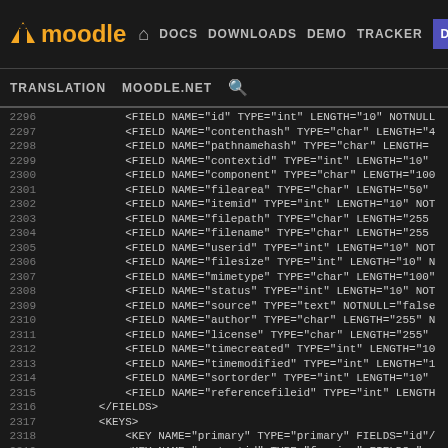[Figure (screenshot): Moodle developer documentation website navigation bar with logo, nav links (DOCS, DOWNLOADS, DEMO, TRACKER, DEV active), and sub-navigation (TRANSLATION, MOODLE.NET, search icon)]
Code viewer showing XML field definitions for Moodle database schema, lines 2296-2321, including FIELD and KEY definitions for file storage table
2296    <FIELD NAME="id" TYPE="int" LENGTH="10" NOTNULL
2297    <FIELD NAME="contenthash" TYPE="char" LENGTH="4
2298    <FIELD NAME="pathnamehash" TYPE="char" LENGTH=
2299    <FIELD NAME="contextid" TYPE="int" LENGTH="10"
2300    <FIELD NAME="component" TYPE="char" LENGTH="100
2301    <FIELD NAME="filearea" TYPE="char" LENGTH="50"
2302    <FIELD NAME="itemid" TYPE="int" LENGTH="10" NOT
2303    <FIELD NAME="filepath" TYPE="char" LENGTH="255
2304    <FIELD NAME="filename" TYPE="char" LENGTH="255
2305    <FIELD NAME="userid" TYPE="int" LENGTH="10" NOT
2306    <FIELD NAME="filesize" TYPE="int" LENGTH="10" N
2307    <FIELD NAME="mimetype" TYPE="char" LENGTH="100"
2308    <FIELD NAME="status" TYPE="int" LENGTH="10" NOT
2309    <FIELD NAME="source" TYPE="text" NOTNULL="false
2310    <FIELD NAME="author" TYPE="char" LENGTH="255" N
2311    <FIELD NAME="license" TYPE="char" LENGTH="255"
2312    <FIELD NAME="timecreated" TYPE="int" LENGTH="10
2313    <FIELD NAME="timemodified" TYPE="int" LENGTH="1
2314    <FIELD NAME="sortorder" TYPE="int" LENGTH="10"
2315    <FIELD NAME="referencefileid" TYPE="int" LENGTH
2316    </FIELDS>
2317    <KEYS>
2318    <KEY NAME="primary" TYPE="primary" FIELDS="id"/
2319    <KEY NAME="contextid" TYPE="foreign" FIELDS="co
2320    <KEY NAME="userid" TYPE="foreign" FIELDS="useri
2321    <KEY NAME="referencefileid" TYPE="foreign"